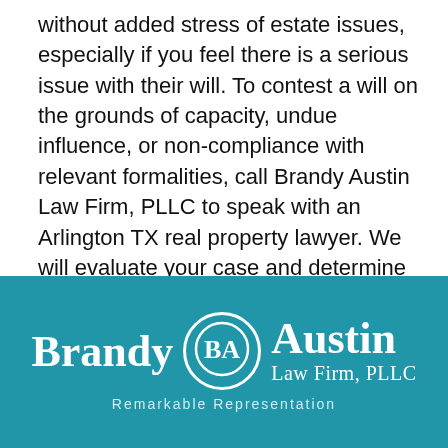without added stress of estate issues, especially if you feel there is a serious issue with their will. To contest a will on the grounds of capacity, undue influence, or non-compliance with relevant formalities, call Brandy Austin Law Firm, PLLC to speak with an Arlington TX real property lawyer. We will evaluate your case and determine what legal options you may have. Call our office today.
[Figure (logo): Brandy Austin Law Firm, PLLC logo on teal/blue background. Features 'Brandy' and 'Austin' in large serif white font flanking a circular BA monogram badge. Subtitle reads 'Law Firm, PLLC' and tagline reads 'Remarkable Representation'.]